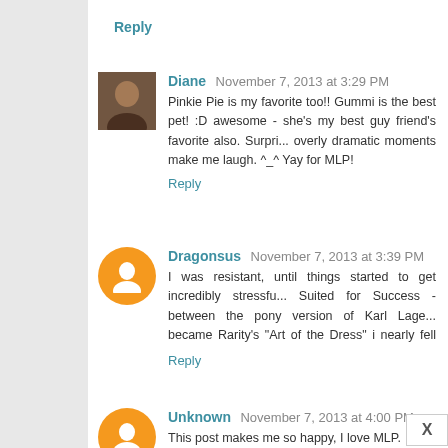Reply
Diane  November 7, 2013 at 3:29 PM
Pinkie Pie is my favorite too!! Gummi is the best pet! :D awesome - she's my best guy friend's favorite also. Surpri... overly dramatic moments make me laugh. ^_^ Yay for MLP!
Reply
Dragonsus  November 7, 2013 at 3:39 PM
I was resistant, until things started to get incredibly stressfu... Suited for Success - between the pony version of Karl Lage... became Rarity's "Art of the Dress" i nearly fell off the co... Dragons, however, means Spike is my favorite :)
Reply
Unknown  November 7, 2013 at 4:00 PM
This post makes me so happy, I love MLP. Pinkie Pie i...